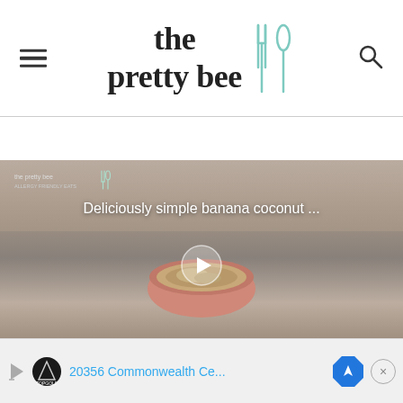the pretty bee
[Figure (screenshot): Video thumbnail showing a pink bowl with granola/cereal on a wooden surface. Overlay text reads 'Deliciously simple banana coconut ...' with a play button in the center. The pretty bee logo appears in top left of the video frame.]
[Figure (screenshot): Advertisement bar at bottom showing TopGolf logo, text '20356 Commonwealth Ce...', a blue navigation arrow icon, and an X close button.]